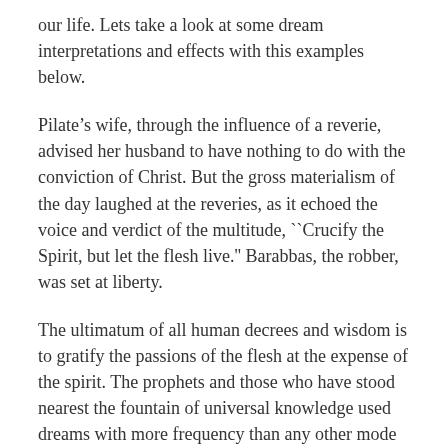our life. Lets take a look at some dream interpretations and effects with this examples below.
Pilate’s wife, through the influence of a reverie, advised her husband to have nothing to do with the conviction of Christ. But the gross materialism of the day laughed at the reveries, as it echoed the voice and verdict of the multitude, ``Crucify the Spirit, but let the flesh live.'' Barabbas, the robber, was set at liberty.
The ultimatum of all human decrees and wisdom is to gratify the passions of the flesh at the expense of the spirit. The prophets and those who have stood nearest the fountain of universal knowledge used dreams with more frequency than any other mode of divination.
Profane, as well as sacred, history is threaded with incidents of reverie prophecy. Ancient history relates that Gennadius was convinced of the immortality of his soul by